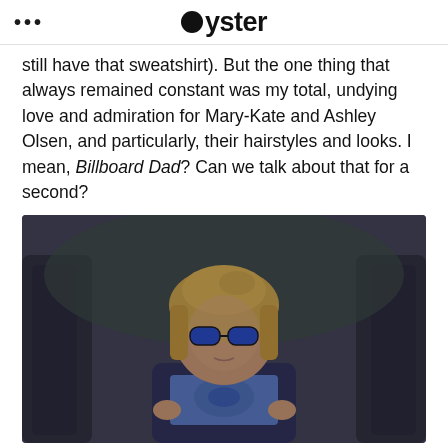... Oyster
still have that sweatshirt). But the one thing that always remained constant was my total, undying love and admiration for Mary-Kate and Ashley Olsen, and particularly, their hairstyles and looks. I mean, Billboard Dad? Can we talk about that for a second?
[Figure (photo): A young blonde child wearing blue sunglasses and a blue t-shirt with a navy jacket, standing between what appear to be bus or vehicle seats, from a still of the movie Billboard Dad.]